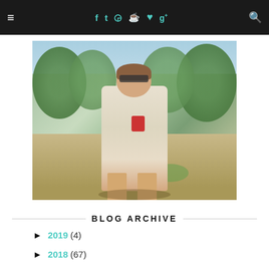≡  f  t  ▣  ℗  ♥  g+  🔍
[Figure (photo): Young woman in a light striped romper and sunglasses standing in a peach orchard, holding a red cup, sunny outdoor setting with trees in background.]
BLOG ARCHIVE
► 2019 (4)
► 2018 (67)